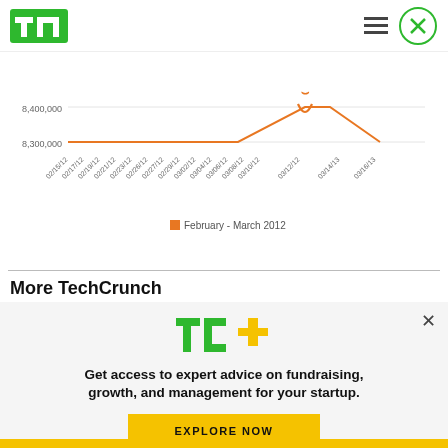TechCrunch
[Figure (line-chart): February - March 2012]
More TechCrunch
[Figure (screenshot): Colorful image strip teaser]
Get access to expert advice on fundraising, growth, and management for your startup.
EXPLORE NOW